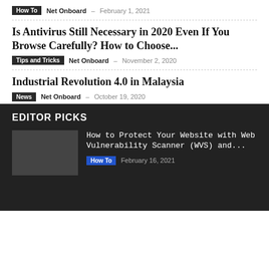How To  Net Onboard  –  February 1, 2021
Is Antivirus Still Necessary in 2020 Even If You Browse Carefully? How to Choose...
Tips and Tricks  Net Onboard  –  November 2, 2020
Industrial Revolution 4.0 in Malaysia
News  Net Onboard  –  October 19, 2020
EDITOR PICKS
How to Protect Your Website with Web Vulnerability Scanner (WVS) and...
How To  February 16, 2021